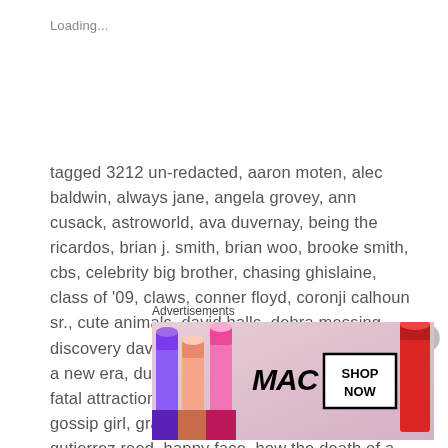Loading...
tagged 3212 un-redacted, aaron moten, alec baldwin, always jane, angela grovey, ann cusack, astroworld, ava duvernay, being the ricardos, brian j. smith, brian woo, brooke smith, cbs, celebrity big brother, chasing ghislaine, class of '09, claws, conner floyd, coronji calhoun sr., cute animals, david halls, debra messing, discovery david dobrik, disney, downtown abbey: a new era, duck, emnancipation, extreme sisters, fatal attraction, fcc, general hospital, good sam, gossip girl, grant harvey, hanna, hannah gutierrez reed, happy face, how the death of a muslm recruit revealed a culture of bruality in the marines, how to with john wilson, i love a mama's boy, it's always sunny in philadelphia, jabbar lewis, jayson warner smith, jerry douglas, jonas brothers
Advertisements
[Figure (photo): MAC cosmetics advertisement showing lipsticks and SHOP NOW button]